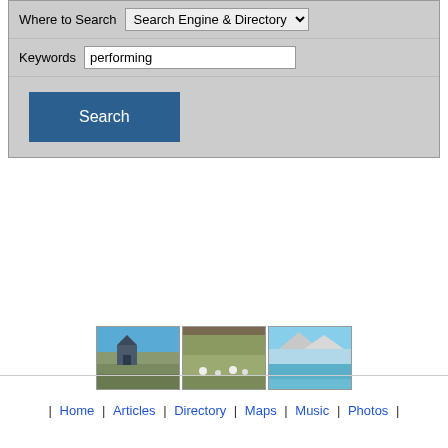Where to Search  Search Engine & Directory
Keywords  performing
Search
[Figure (photo): Three New Zealand landscape photos: a church/building with blue sky, sheep in a green field, and mountains with a blue lake]
| Home | Articles | Directory | Maps | Music | Photos |